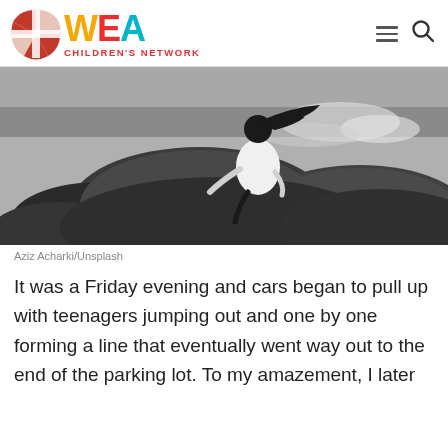[Figure (logo): WEA Children's Network logo with circular cross icon and colorful WEA letters]
[Figure (photo): Black and white photo of a young girl sitting on large rocks by the ocean, hair blowing in the wind, waves crashing in the background]
Aziz Acharki/Unsplash
It was a Friday evening and cars began to pull up with teenagers jumping out and one by one forming a line that eventually went way out to the end of the parking lot. To my amazement, I later